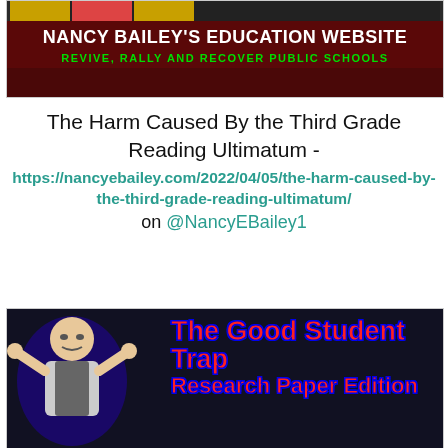[Figure (illustration): Nancy Bailey's Education Website banner with red/dark background, white bold title text 'NANCY BAILEY'S EDUCATION WEBSITE' and green subtitle 'REVIVE, RALLY AND RECOVER PUBLIC SCHOOLS']
The Harm Caused By the Third Grade Reading Ultimatum - https://nancyebailey.com/2022/04/05/the-harm-caused-by-the-third-grade-reading-ultimatum/ on @NancyEBailey1
[Figure (illustration): The Good Student Trap Research Paper Edition banner with person in suit with arms raised, red bold title text on dark background]